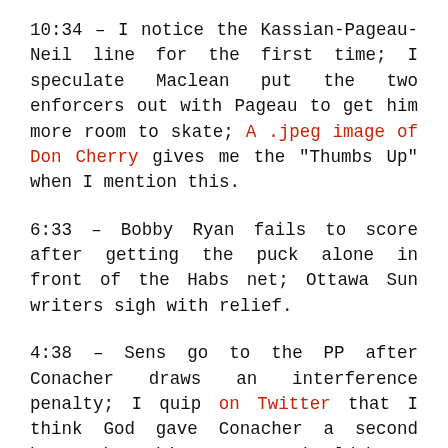10:34 – I notice the Kassian-Pageau-Neil line for the first time; I speculate Maclean put the two enforcers out with Pageau to get him more room to skate; A .jpeg image of Don Cherry gives me the "Thumbs Up" when I mention this.
6:33 – Bobby Ryan fails to score after getting the puck alone in front of the Habs net; Ottawa Sun writers sigh with relief.
4:38 – Sens go to the PP after Conacher draws an interference penalty; I quip on Twitter that I think God gave Conacher a second heart where his pancreas should be.
3:26 – Bobby Ryan dangles Player #84 (no disrespect intended, but I have no idea who that is) and snipes a powerplay goal; RDS commentators use the word “magnifique”; Ottawa Sun writers throw hands up in exasperation; Ryan does the “truffle shuffle” to